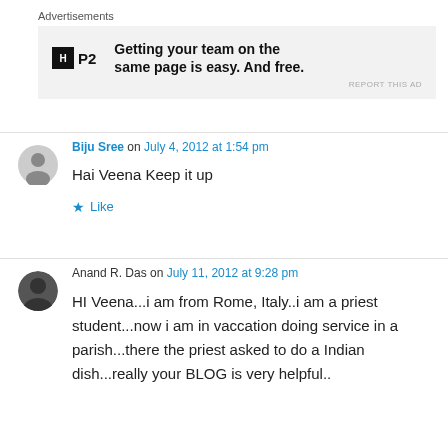Advertisements
[Figure (other): P2 advertisement banner with logo and text: Getting your team on the same page is easy. And free.]
Biju Sree on July 4, 2012 at 1:54 pm
Hai Veena Keep it up
Like
Anand R. Das on July 11, 2012 at 9:28 pm
HI Veena...i am from Rome, Italy..i am a priest student...now i am in vaccation doing service in a parish...there the priest asked to do a Indian dish...really your BLOG is very helpful..